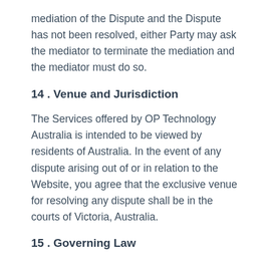mediation of the Dispute and the Dispute has not been resolved, either Party may ask the mediator to terminate the mediation and the mediator must do so.
14 . Venue and Jurisdiction
The Services offered by OP Technology Australia is intended to be viewed by residents of Australia. In the event of any dispute arising out of or in relation to the Website, you agree that the exclusive venue for resolving any dispute shall be in the courts of Victoria, Australia.
15 . Governing Law